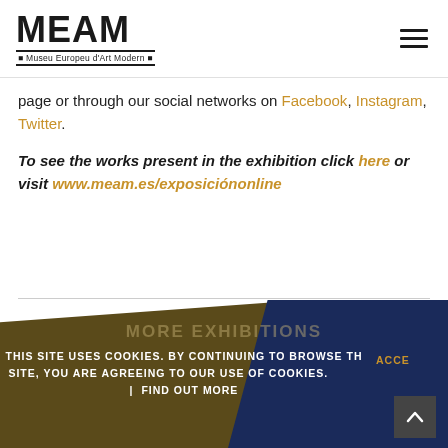[Figure (logo): MEAM - Museu Europeu d'Art Modern logo with hamburger menu icon]
page or through our social networks on Facebook, Instagram, Twitter.
To see the works present in the exhibition click here or visit www.meam.es/exposiciónonline
MORE EXHIBITIONS
THIS SITE USES COOKIES. BY CONTINUING TO BROWSE THE SITE, YOU ARE AGREEING TO OUR USE OF COOKIES. | FIND OUT MORE
ACCEPT